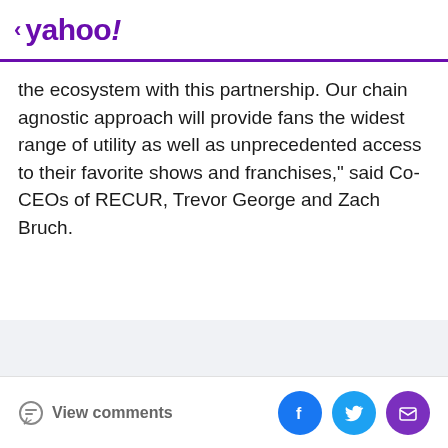< yahoo!
the ecosystem with this partnership. Our chain agnostic approach will provide fans the widest range of utility as well as unprecedented access to their favorite shows and franchises," said Co-CEOs of RECUR, Trevor George and Zach Bruch.
[Figure (other): Advertisement placeholder area with light gray background]
View comments | Facebook share | Twitter share | Email share